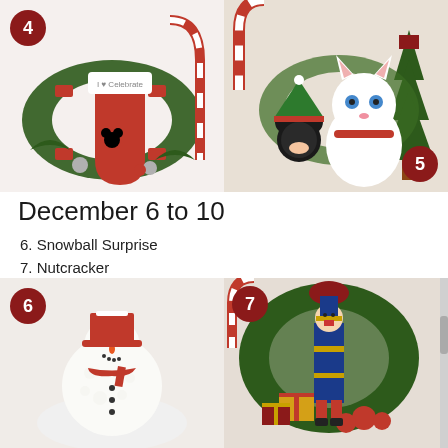[Figure (photo): Christmas stocking with Mickey Mouse design, candy cane, and wreath decorations on white background. Number badge '4' in top left corner.]
[Figure (photo): White kitten plush toy with red collar and small Mickey Mouse plush in elf hat, surrounded by Christmas greenery and ornaments. Number badge '5' in bottom right corner.]
December 6 to 10
6. Snowball Surprise
7. Nutcracker
8. Santa's Slay
9. Gourmet Basket
10. Smiling Santa
[Figure (photo): Snowman cake or dessert with red hat and scarf on white fluffy base. Number badge '6' in top left corner.]
[Figure (photo): Nutcracker toy soldier standing in front of Christmas wreath with ornaments and gift boxes. Number badge '7' in top left corner.]